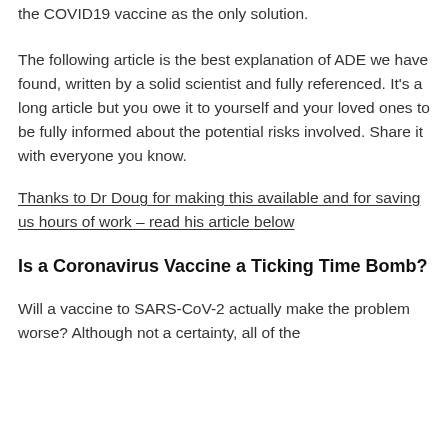the COVID19 vaccine as the only solution.
The following article is the best explanation of ADE we have found, written by a solid scientist and fully referenced. It’s a long article but you owe it to yourself and your loved ones to be fully informed about the potential risks involved. Share it with everyone you know.
Thanks to Dr Doug for making this available and for saving us hours of work – read his article below
Is a Coronavirus Vaccine a Ticking Time Bomb?
Will a vaccine to SARS-CoV-2 actually make the problem worse? Although not a certainty, all of the